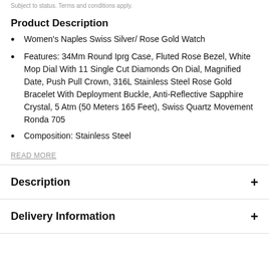Subject to status. Terms and conditions apply.
Product Description
Women's Naples Swiss Silver/ Rose Gold Watch
Features: 34Mm Round Iprg Case, Fluted Rose Bezel, White Mop Dial With 11 Single Cut Diamonds On Dial, Magnified Date, Push Pull Crown, 316L Stainless Steel Rose Gold Bracelet With Deployment Buckle, Anti-Reflective Sapphire Crystal, 5 Atm (50 Meters 165 Feet), Swiss Quartz Movement Ronda 705
Composition: Stainless Steel
READ MORE
Description
Delivery Information